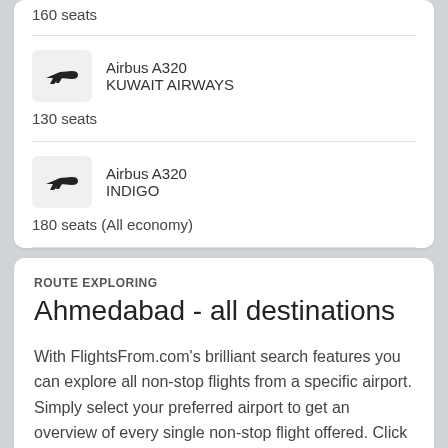JAZEERA AIRWAYS
160 seats
Airbus A320
KUWAIT AIRWAYS
130 seats
Airbus A320
INDIGO
180 seats (All economy)
ROUTE EXPLORING
Ahmedabad - all destinations
With FlightsFrom.com's brilliant search features you can explore all non-stop flights from a specific airport. Simply select your preferred airport to get an overview of every single non-stop flight offered. Click on one of the routes to get information about which airline's operate the route, when the next scheduled flight